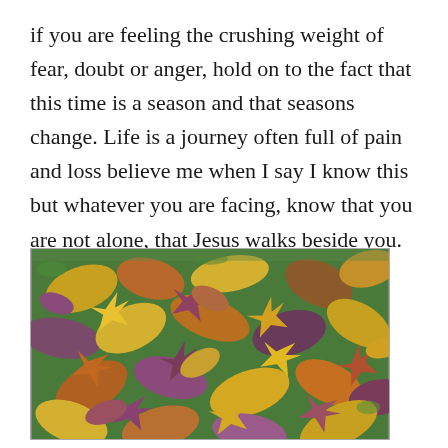if you are feeling the crushing weight of fear, doubt or anger, hold on to the fact that this time is a season and that seasons change. Life is a journey often full of pain and loss believe me when I say I know this but whatever you are facing, know that you are not alone, that Jesus walks beside you.
[Figure (photo): Overhead photo of fallen autumn leaves in yellow, orange, brown, and purple hues covering green grass.]